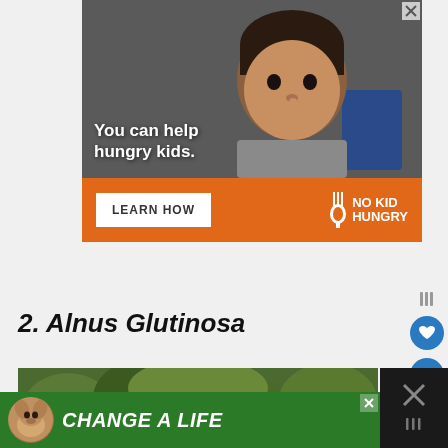[Figure (photo): Advertisement banner featuring a young boy eating, with text 'You can help hungry kids.' and orange bar with 'LEARN HOW' button and No Kid Hungry logo]
2. Alnus Glutinosa
[Figure (photo): Bottom portion of a nature photo (green foliage/plants) partially visible]
[Figure (photo): Advertisement banner at bottom with dog photo and text 'CHANGE A LIFE']